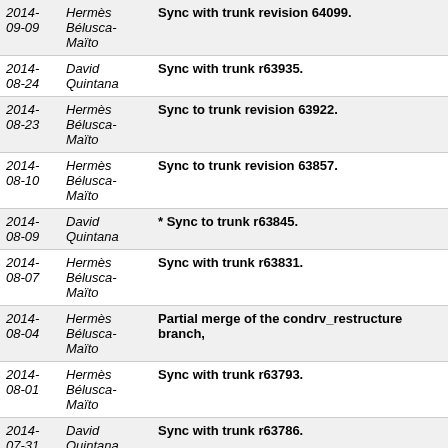| Date | Author | Message |
| --- | --- | --- |
| 2014-09-09 | Hermès Bélusca-Maïto | Sync with trunk revision 64099. |
| 2014-08-24 | David Quintana | Sync with trunk r63935. |
| 2014-08-23 | Hermès Bélusca-Maïto | Sync to trunk revision 63922. |
| 2014-08-10 | Hermès Bélusca-Maïto | Sync to trunk revision 63857. |
| 2014-08-09 | David Quintana | * Sync to trunk r63845. |
| 2014-08-07 | Hermès Bélusca-Maïto | Sync with trunk r63831. |
| 2014-08-04 | Hermès Bélusca-Maïto | Partial merge of the condrv_restructure branch, |
| 2014-08-01 | Hermès Bélusca-Maïto | Sync with trunk r63793. |
| 2014-07-31 | David Quintana | Sync with trunk r63786. |
| 2014-07-27 | Hermès Bélusca-Maïto | Sync with trunk r63743. |
| 2014- | Hermès | Sync with trunk r63647. |